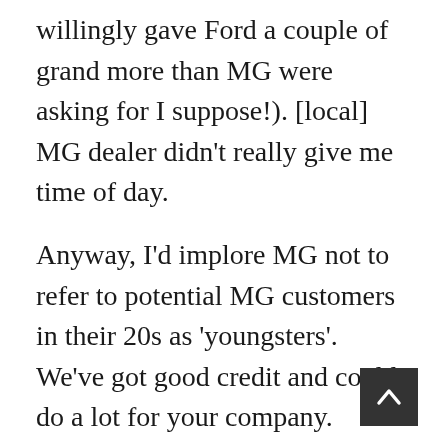willingly gave Ford a couple of grand more than MG were asking for I suppose!). [local] MG dealer didn't really give me time of day.
Anyway, I'd implore MG not to refer to potential MG customers in their 20s as 'youngsters'. We've got good credit and could do a lot for your company. Continue this attitude after the launch of the MG3 and you could be alienating a large part of your potential market. I was a fiesta owner before I got this focus.
Will